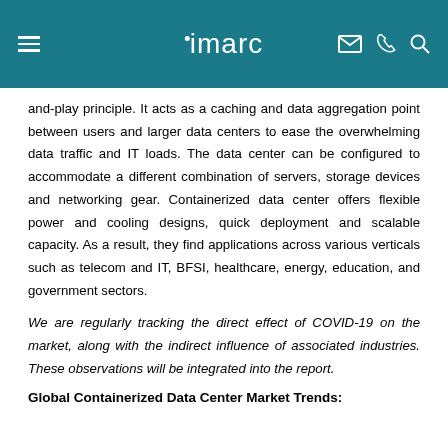imarc
and-play principle. It acts as a caching and data aggregation point between users and larger data centers to ease the overwhelming data traffic and IT loads. The data center can be configured to accommodate a different combination of servers, storage devices and networking gear. Containerized data center offers flexible power and cooling designs, quick deployment and scalable capacity. As a result, they find applications across various verticals such as telecom and IT, BFSI, healthcare, energy, education, and government sectors.
We are regularly tracking the direct effect of COVID-19 on the market, along with the indirect influence of associated industries. These observations will be integrated into the report.
Global Containerized Data Center Market Trends: